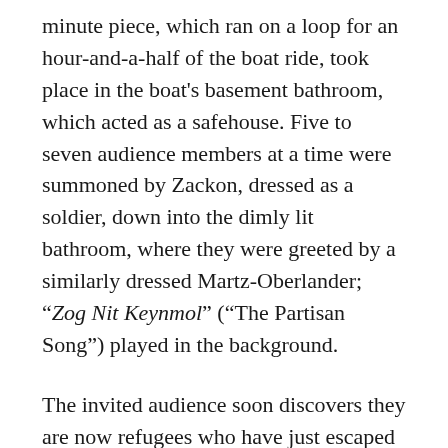minute piece, which ran on a loop for an hour-and-a-half of the boat ride, took place in the boat's basement bathroom, which acted as a safehouse. Five to seven audience members at a time were summoned by Zackon, dressed as a soldier, down into the dimly lit bathroom, where they were greeted by a similarly dressed Martz-Oberlander; “Zog Nit Keynmol” (“The Partisan Song”) played in the background.
The invited audience soon discovers they are now refugees who have just escaped fires in California. The soldiers, members of a new wave of partisans called PAP, explain that the refugees are being brought to another safehouse and prepared to enter the new world. The soldiers explain that their resistance cohort has based their movement on the survival lessons of their ancestors, partisan fighters in the forests of occupied Europe. The audience